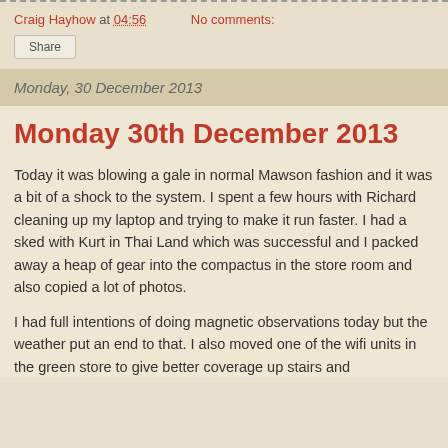Craig Hayhow at 04:56    No comments:
Share
Monday, 30 December 2013
Monday 30th December 2013
Today it was blowing a gale in normal Mawson fashion and it was a bit of a shock to the system. I spent a few hours with Richard cleaning up my laptop and trying to make it run faster. I had a sked with Kurt in Thai Land which was successful and I packed away a heap of gear into the compactus in the store room and also copied a lot of photos.
I had full intentions of doing magnetic observations today but the weather put an end to that. I also moved one of the wifi units in the green store to give better coverage up stairs and